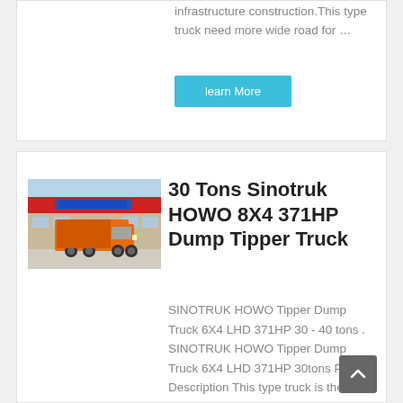infrastructure construction.This type truck need more wide road for ...
learn More
[Figure (photo): Orange Sinotruk HOWO dump truck parked in front of a building with red and blue signage]
30 Tons Sinotruk HOWO 8X4 371HP Dump Tipper Truck
SINOTRUK HOWO Tipper Dump Truck 6X4 LHD 371HP 30 - 40 tons . SINOTRUK HOWO Tipper Dump Truck 6X4 LHD 371HP 30tons Product Description This type truck is the famouce brand of CNHTC group